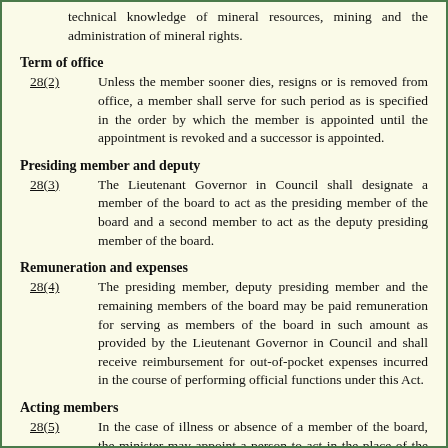technical knowledge of mineral resources, mining and the administration of mineral rights.
Term of office
28(2)  Unless the member sooner dies, resigns or is removed from office, a member shall serve for such period as is specified in the order by which the member is appointed until the appointment is revoked and a successor is appointed.
Presiding member and deputy
28(3)  The Lieutenant Governor in Council shall designate a member of the board to act as the presiding member of the board and a second member to act as the deputy presiding member of the board.
Remuneration and expenses
28(4)  The presiding member, deputy presiding member and the remaining members of the board may be paid remuneration for serving as members of the board in such amount as provided by the Lieutenant Governor in Council and shall receive reimbursement for out-of-pocket expenses incurred in the course of performing official functions under this Act.
Acting members
28(5)  In the case of illness or absence of a member of the board, the minister may appoint a person to act in the place of the ill or absent member during the period of illness or absence and the person so